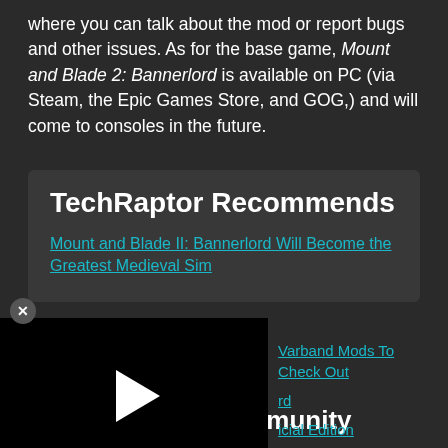where you can talk about the mod or report bugs and other issues. As for the base game, Mount and Blade 2: Bannerlord is available on PC (via Steam, the Epic Games Store, and GOG,) and will come to consoles in the future.
TechRaptor Recommends
Mount and Blade II: Bannerlord Will Become the Greatest Medieval Sim
Warband Mods To Check Out
rd
icial Edition
[Figure (other): Video player with black background and white play button triangle]
Popular in the Community